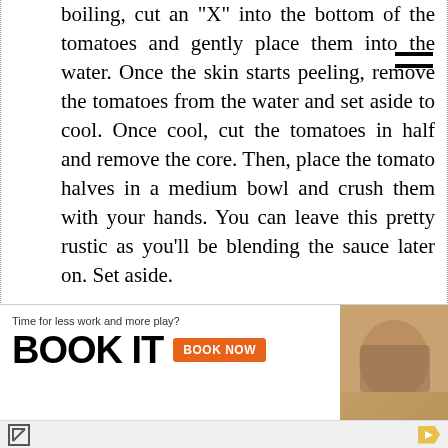boiling, cut an "X" into the bottom of the tomatoes and gently place them into the water. Once the skin starts peeling, remove the tomatoes from the water and set aside to cool. Once cool, cut the tomatoes in half and remove the core. Then, place the tomato halves in a medium bowl and crush them with your hands. You can leave this pretty rustic as you'll be blending the sauce later on. Set aside.
3. Place a large, deep skillet (or braiser) over medium heat. Add the coconut oil to the skillet and swirl it around. Add the onions to the skillet and saute until translucent and soft, about 5 minutes.
[Figure (screenshot): Advertisement banner: 'Time for less work and more play? BOOK IT [BOOK NOW button]' with brand logos and a close button on the right side showing a person in a living room background.]